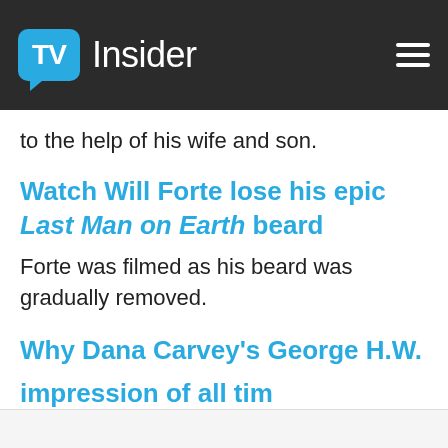TV Insider
to the help of his wife and son.
Watch Will Forte lose his epic Last Man on Earth beard
Forte was filmed as his beard was gradually removed.
Why Dana Carvey's George H.W. Bush is the best impression of all time
How does it stack up